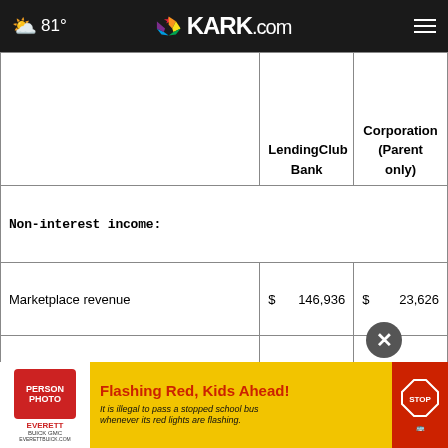81° KARK.com
|  | LendingClub Bank | Corporation (Parent only) |
| --- | --- | --- |
| Non-interest income: |  |  |
| Marketplace revenue | $ 146,936 | $ 23,626 |
| Other non-interest income | 21,520 | 4,199 |
| Total non-interest income | 168,4... | 27,825 |
[Figure (other): Advertisement banner: Everett Buick GMC - Flashing Red Kids Ahead school bus safety ad]